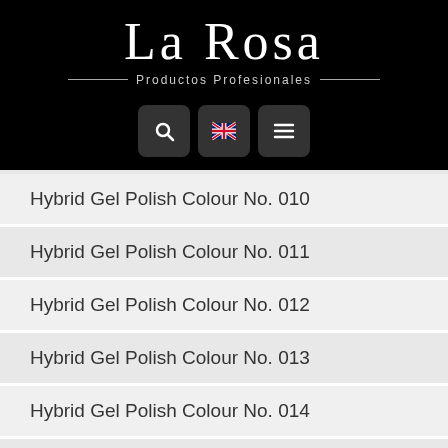[Figure (logo): La Rosa Productos Profesionales logo with navigation buttons (search, UK flag language selector, hamburger menu) on black background]
Hybrid Gel Polish Colour No. 010
Hybrid Gel Polish Colour No. 011
Hybrid Gel Polish Colour No. 012
Hybrid Gel Polish Colour No. 013
Hybrid Gel Polish Colour No. 014
Hybrid Gel Polish Colour No. 015
Hybrid Gel Polish Colour No. 016
Hybrid Gel Polish Colour No. 017